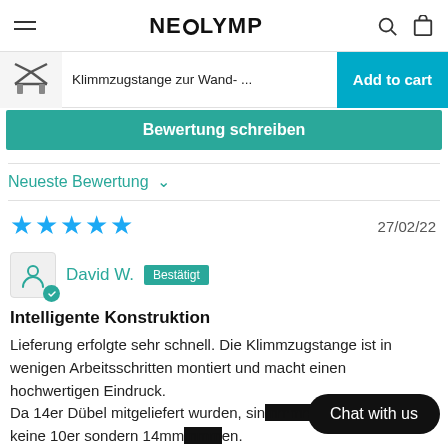NEOLYMP
[Figure (screenshot): Sticky add-to-cart bar with product thumbnail (Klimmzugstange zur Wand- ...) and Add to cart button]
Bewertung schreiben
Neueste Bewertung
27/02/22
David W. Bestätigt
Intelligente Konstruktion
Lieferung erfolgte sehr schnell. Die Klimmzugstange ist in wenigen Arbeitsschritten montiert und macht einen hochwertigen Eindruck.
Da 14er Dübel mitgeliefert wurden, sin… der Anleitung keine 10er sondern 14mm…en.
Chat with us